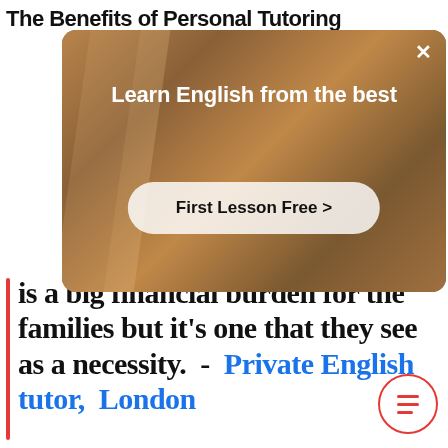The Benefits of Personal Tutoring
[Figure (screenshot): Advertisement overlay showing a person in a room with text 'Learn English from the best' and a button 'First Lesson Free >' with a close X button]
is a big financial burden for the families but it's one that they see as a necessity.  -  Private English tutor,  London